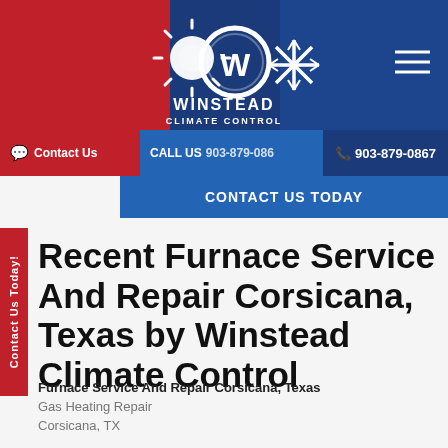[Figure (logo): Winstead Climate Control logo with sun and snowflake icons on red and blue gradient header banner]
Contact Us  CALL US 903-879-086  903-879-0867
CONTACT US TODAY
Recent Furnace Service And Repair Corsicana, Texas by Winstead Climate Control
Furnace Service And Repair Corsicana, Texas
Gas Heating Repair
Corsicana, TX